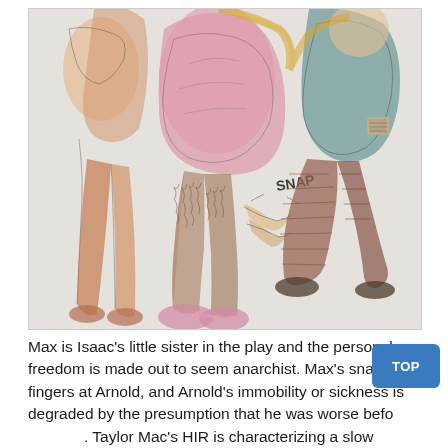[Figure (illustration): A colorful hand-drawn illustration showing several figures. On the left is a figure with orange/brown legs. In the center is a figure wearing a large pink top with hairy legs and pink fluffy footwear. In the upper right is a figure in a teal/green top crouching. The word 'SNAP' appears in the center of the image near outstretched hands.]
Max is Isaac's little sister in the play and the personal freedom is made out to seem anarchist. Max's snaps his fingers at Arnold, and Arnold's immobility or sickness is degraded by the presumption that he was worse before. Taylor Mac's HIR is characterizing a slow evolving malaise in human anatomy. Isaac cleans up the house, and intends to